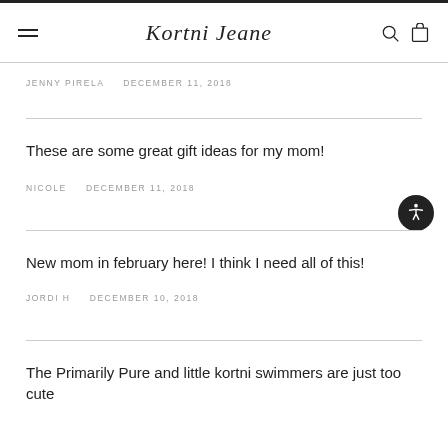Kortni Jeane — navigation header with logo, hamburger menu, search and cart icons
JENNY PIRELA    DECEMBER 11, 2018
These are some great gift ideas for my mom!
NICOLE    DECEMBER 11, 2018
New mom in february here! I think I need all of this!
JORDI H    DECEMBER 10, 2018
The Primarily Pure and little kortni swimmers are just too cute